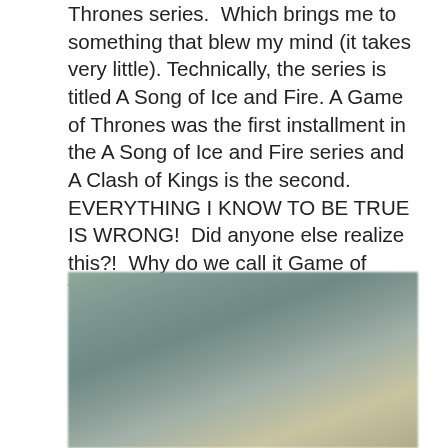Thrones series.  Which brings me to something that blew my mind (it takes very little). Technically, the series is titled A Song of Ice and Fire. A Game of Thrones was the first installment in the A Song of Ice and Fire series and A Clash of Kings is the second.  EVERYTHING I KNOW TO BE TRUE IS WRONG!  Did anyone else realize this?!  Why do we call it Game of Thrones?!  Damn you, HBO!
[Figure (photo): A blurred outdoor or indoor photograph with muted green, grey, and tan tones, appearing to show a scene from a TV show or similar setting.]